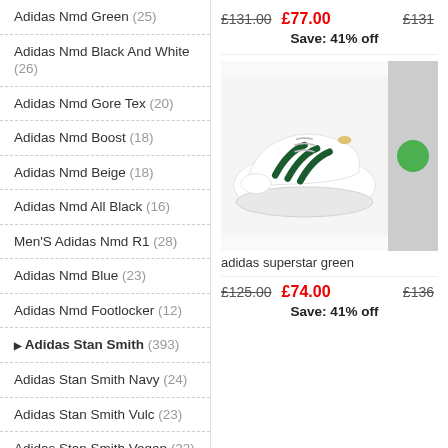Adidas Nmd Green (25)
Adidas Nmd Black And White (26)
Adidas Nmd Gore Tex (20)
Adidas Nmd Boost (18)
Adidas Nmd Beige (18)
Adidas Nmd All Black (16)
Men'S Adidas Nmd R1 (28)
Adidas Nmd Blue (23)
Adidas Nmd Footlocker (12)
Adidas Stan Smith (393)
Adidas Stan Smith Navy (24)
Adidas Stan Smith Vulc (23)
Adidas Stan Smith Vegan (23)
Adidas Originals Stan Smith Vulc (19)
Adidas Stan Smith Black And White (28)
£131.00  £77.00  £131  Save: 41% off
[Figure (photo): White and green Adidas Superstar sneaker with green three stripes]
adidas superstar green
£125.00  £74.00  £136  Save: 41% off